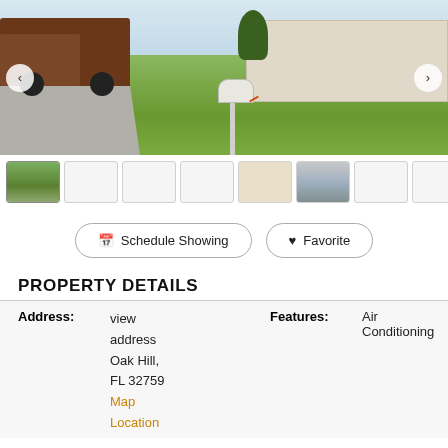[Figure (photo): Exterior photo of a residential property showing a green lawn, a mailbox in the foreground, a truck in the driveway, and a house in the background. Navigation arrows on left and right sides.]
[Figure (photo): Thumbnail strip with 8 small preview images of the property. First thumbnail shows the exterior/lawn, sixth shows a carport/driveway area. Others are mostly blank/white.]
Schedule Showing   Favorite
PROPERTY DETAILS
| Label | Value | Label | Value |
| --- | --- | --- | --- |
| Address: | view address Oak Hill, FL 32759 Map Location | Features: | Air Conditioning |